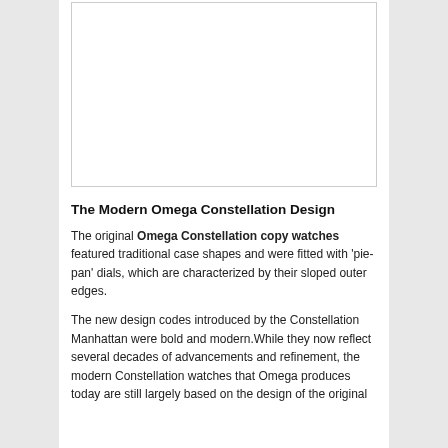[Figure (photo): Large rectangular image placeholder area with light border, content not visible]
The Modern Omega Constellation Design
The original Omega Constellation copy watches featured traditional case shapes and were fitted with 'pie-pan' dials, which are characterized by their sloped outer edges.
The new design codes introduced by the Constellation Manhattan were bold and modern.While they now reflect several decades of advancements and refinement, the modern Constellation watches that Omega produces today are still largely based on the design of the original